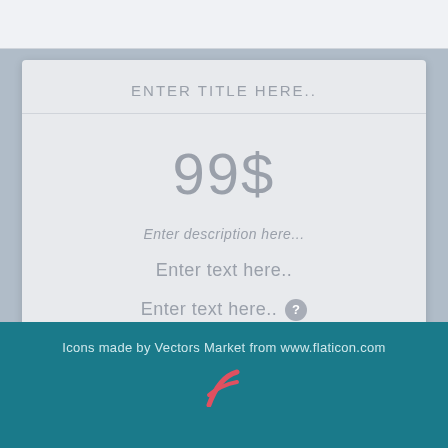ENTER TITLE HERE..
99$
Enter description here...
Enter text here..
Enter text here..
Enter text here..
Icons made by Vectors Market from www.flaticon.com